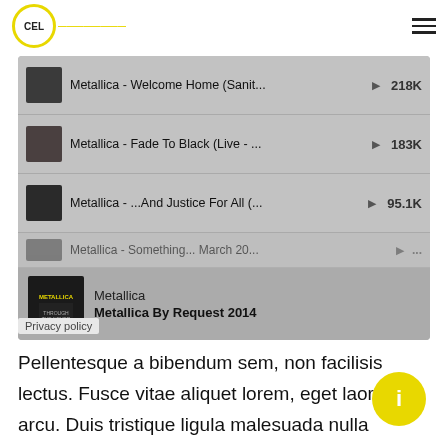CEL [logo with key icon] — hamburger menu
[Figure (screenshot): Music streaming widget showing Metallica tracks: 'Metallica - Welcome Home (Sanit...' with 218K plays, 'Metallica - Fade To Black (Live - ...' with 183K plays, 'Metallica - ...And Justice For All (...' with 95.1K plays, and a partially visible 4th row. Now playing panel: Metallica / Metallica By Request 2014. Privacy policy link.]
Pellentesque a bibendum sem, non facilisis lectus. Fusce vitae aliquet lorem, eget laoreet arcu. Duis tristique ligula malesuada nulla lobortis, sed faucibus mauris ultricies. Aenean a convallis tellus. Suspendisse potenti. Nullam eu noque